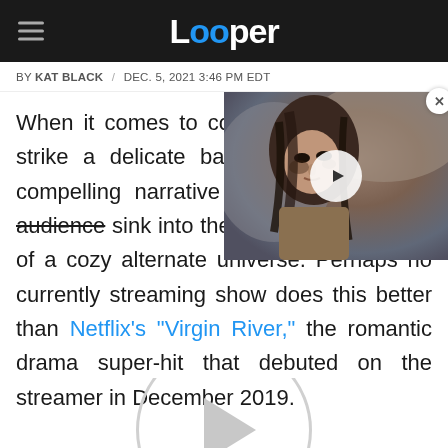Looper
BY KAT BLACK / DEC. 5, 2021 3:46 PM EDT
[Figure (photo): Video thumbnail showing a young woman with dark hair and intense expression, with a play button overlay. A close button (x) is in the top right corner.]
When it comes to comfort viewing, great shows strike a delicate balance between compelling narrative arcs and letting its audience sink into the warm, ambient bath of a cozy alternate universe. Perhaps no currently streaming show does this better than Netflix's "Virgin River," the romantic drama super-hit that debuted on the streamer in December 2019.